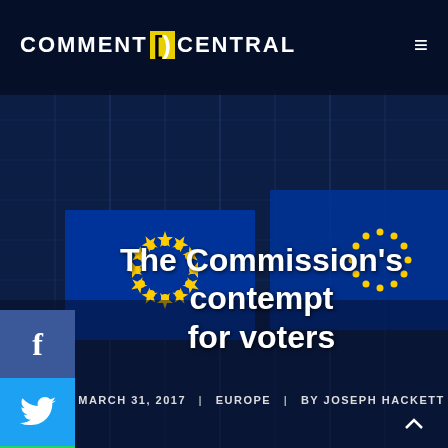COMMENT CENTRAL
[Figure (photo): EU flags waving in front of a glass European Commission building, dark blue night/dusk atmosphere with architectural grid lines visible in background]
The Commission's contempt for voters
MARCH 31, 2017 | EUROPE | BY JOSEPH HACKETT